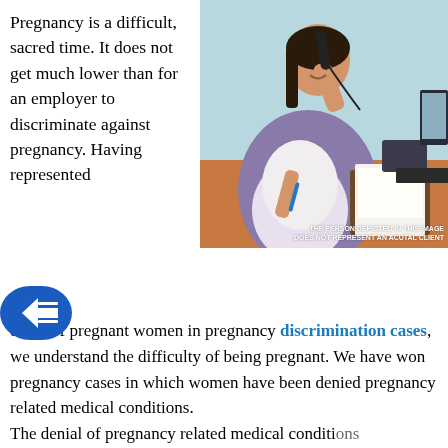Pregnancy is a difficult, sacred time. It does not get much lower than for an employer to discriminate against pregnancy. Having represented hundreds of pregnant women in pregnancy discrimination cases, we understand the difficulty of being pregnant. We have won pregnancy cases in which women have been denied pregnancy related medical conditions. The denial of pregnancy related medical conditions...
[Figure (photo): A smiling pregnant woman in a purple blazer sitting at a wooden desk, talking on a telephone and holding a blue pen, with a clipboard, files, phone, and computer monitor visible on the desk. Caption reads: THE PERSON DEPICTED IN THIS IMAGE DOES NOT REPRESENT AN ACUTAL CLIENT]